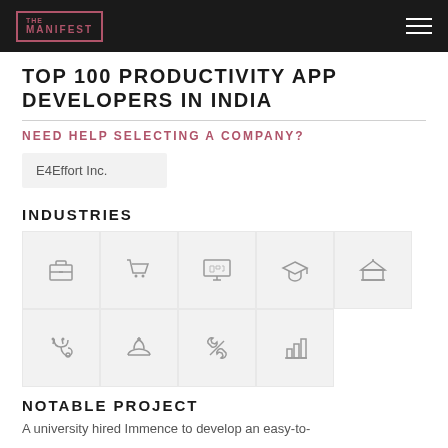THE MANIFEST
TOP 100 PRODUCTIVITY APP DEVELOPERS IN INDIA
NEED HELP SELECTING A COMPANY?
E4Effort Inc.
INDUSTRIES
[Figure (infographic): Grid of industry icons: briefcase (business services), shopping cart (e-commerce), monitor/online shop (e-commerce/retail), graduation cap (education), building/institution (government/finance), stethoscope (medical/health), bell (hospitality), tools crossed (IT services), bar chart (business intelligence)]
NOTABLE PROJECT
A university hired Immence to develop an easy-to-